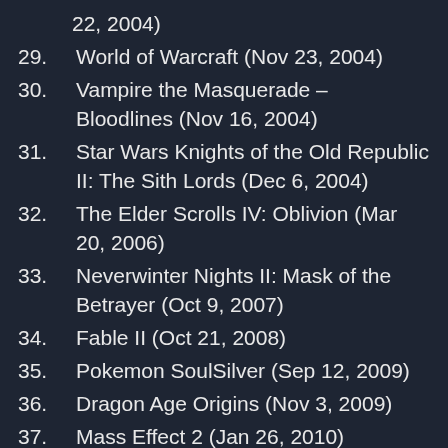22, 2004)
29. World of Warcraft (Nov 23, 2004)
30. Vampire the Masquerade – Bloodlines (Nov 16, 2004)
31. Star Wars Knights of the Old Republic II: The Sith Lords (Dec 6, 2004)
32. The Elder Scrolls IV: Oblivion (Mar 20, 2006)
33. Neverwinter Nights II: Mask of the Betrayer (Oct 9, 2007)
34. Fable II (Oct 21, 2008)
35. Pokemon SoulSilver (Sep 12, 2009)
36. Dragon Age Origins (Nov 3, 2009)
37. Mass Effect 2 (Jan 26, 2010)